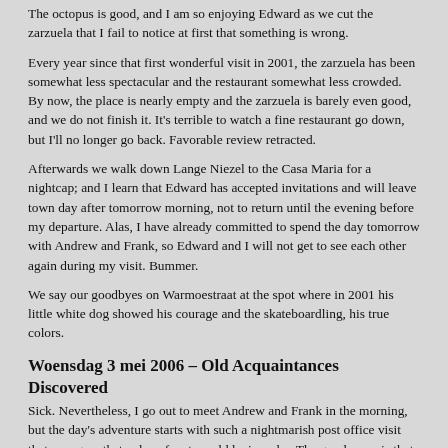The octopus is good, and I am so enjoying Edward as we cut the zarzuela that I fail to notice at first that something is wrong.
Every year since that first wonderful visit in 2001, the zarzuela has been somewhat less spectacular and the restaurant somewhat less crowded. By now, the place is nearly empty and the zarzuela is barely even good, and we do not finish it. It's terrible to watch a fine restaurant go down, but I'll no longer go back. Favorable review retracted.
Afterwards we walk down Lange Niezel to the Casa Maria for a nightcap; and I learn that Edward has accepted invitations and will leave town day after tomorrow morning, not to return until the evening before my departure. Alas, I have already committed to spend the day tomorrow with Andrew and Frank, so Edward and I will not get to see each other again during my visit. Bummer.
We say our goodbyes on Warmoestraat at the spot where in 2001 his little white dog showed his courage and the skateboardling, his true colors.
Woensdag 3 mei 2006 – Old Acquaintances Discovered
Sick. Nevertheless, I go out to meet Andrew and Frank in the morning, but the day's adventure starts with such a nightmarish post office visit that we agree that a day of rest would be in order. The good news is that I got this shot of the post office interior:
[Figure (photo): Interior shot of a post office with glass ceiling/roof structure showing blue sky and metal framework]